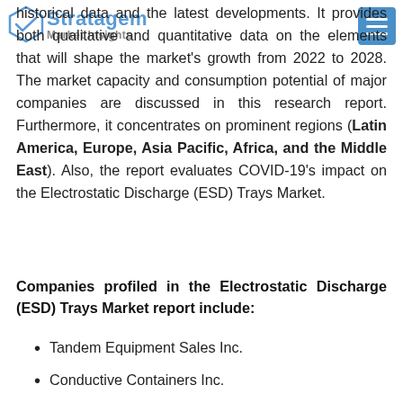Stratagem Market Insights
historical data and the latest developments. It provides both qualitative and quantitative data on the elements that will shape the market's growth from 2022 to 2028. The market capacity and consumption potential of major companies are discussed in this research report. Furthermore, it concentrates on prominent regions (Latin America, Europe, Asia Pacific, Africa, and the Middle East). Also, the report evaluates COVID-19's impact on the Electrostatic Discharge (ESD) Trays Market.
Companies profiled in the Electrostatic Discharge (ESD) Trays Market report include:
Tandem Equipment Sales Inc.
Conductive Containers Inc.